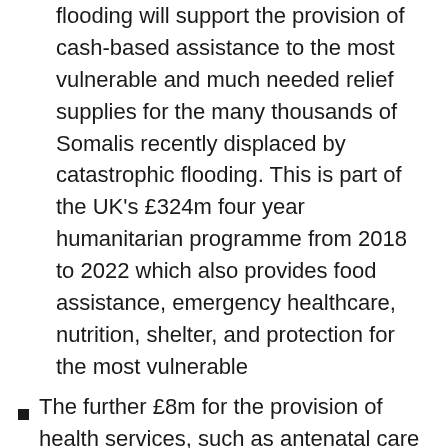flooding will support the provision of cash-based assistance to the most vulnerable and much needed relief supplies for the many thousands of Somalis recently displaced by catastrophic flooding. This is part of the UK's £324m four year humanitarian programme from 2018 to 2022 which also provides food assistance, emergency healthcare, nutrition, shelter, and protection for the most vulnerable
The further £8m for the provision of health services, such as antenatal care and vaccination, in Somalia brings the UK's total health spending from 2016 to 2021 to £96.8...